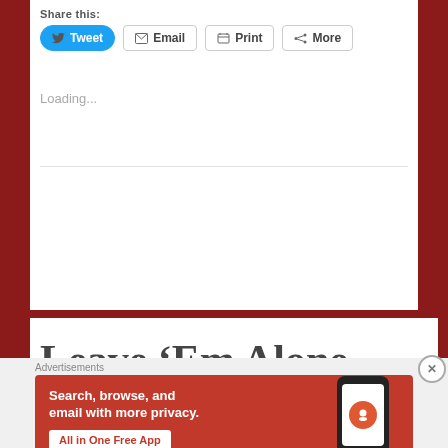Share this:
Tweet  Email  Print  More
Loading...
Leave ‘Em Alone
Advertisements
[Figure (screenshot): DuckDuckGo advertisement banner with orange background. Text reads: Search, browse, and email with more privacy. All in One Free App. Shows a phone with the DuckDuckGo logo.]